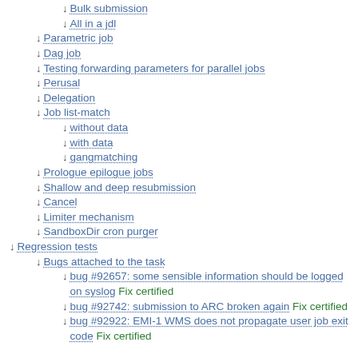Bulk submission
All in a jdl
Parametric job
Dag job
Testing forwarding parameters for parallel jobs
Perusal
Delegation
Job list-match
without data
with data
gangmatching
Prologue epilogue jobs
Shallow and deep resubmission
Cancel
Limiter mechanism
SandboxDir cron purger
Regression tests
Bugs attached to the task
bug #92657: some sensible information should be logged on syslog Fix certified
bug #92742: submission to ARC broken again Fix certified
bug #92922: EMI-1 WMS does not propagate user job exit code Fix certified